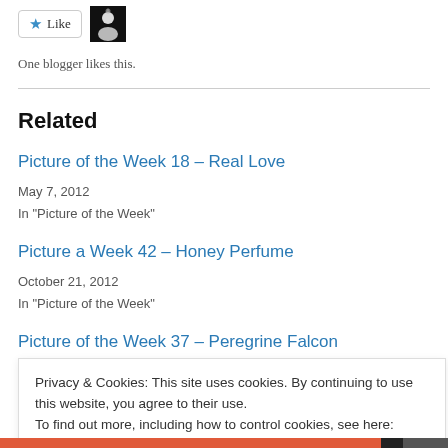[Figure (other): Like button with star icon and a small black avatar thumbnail]
One blogger likes this.
Related
Picture of the Week 18 – Real Love
May 7, 2012
In "Picture of the Week"
Picture a Week 42 – Honey Perfume
October 21, 2012
In "Picture of the Week"
Picture of the Week 37 – Peregrine Falcon
Privacy & Cookies: This site uses cookies. By continuing to use this website, you agree to their use.
To find out more, including how to control cookies, see here: Cookie Policy